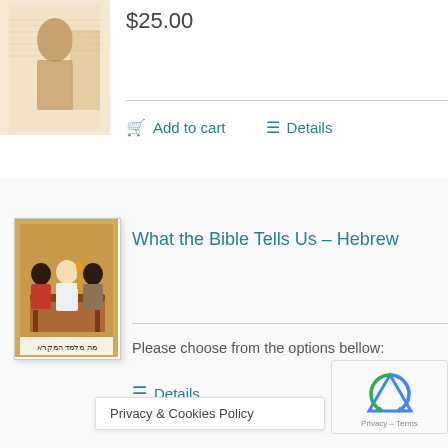[Figure (illustration): Book cover image with sepia-toned figure against a text background]
$25.00
Add to cart   Details
[Figure (illustration): Book cover: What the Bible Tells Us Hebrew edition showing figures at a table with Hebrew text at bottom]
What the Bible Tells Us – Hebrew
Please choose from the options bellow:
Details
Privacy & Cookies Policy
[Figure (logo): reCAPTCHA logo with Privacy – Terms text]